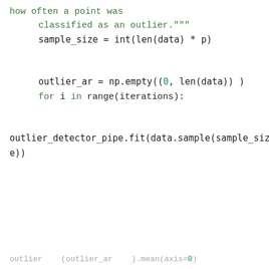how often a point was
    classified as an outlier."""
    sample_size = int(len(data) * p)


    outlier_ar = np.empty((0, len(data)) )
    for i in range(iterations):


outlier_detector_pipe.fit(data.sample(sample_size))
e))
This website uses cookies to ensure you get the best experience on my website.
Learn more
Got it!
outlier    (outlier_ar    ).mean(axis=0)